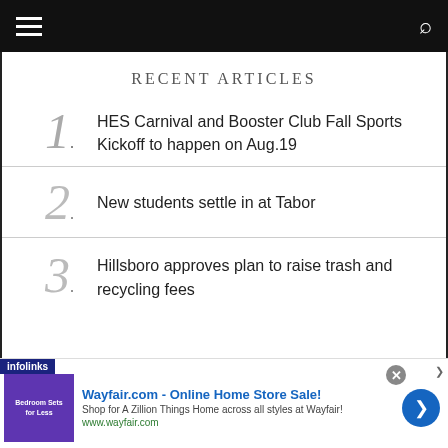Navigation bar with hamburger menu and search icon
RECENT ARTICLES
HES Carnival and Booster Club Fall Sports Kickoff to happen on Aug.19
New students settle in at Tabor
Hillsboro approves plan to raise trash and recycling fees
[Figure (screenshot): Advertisement banner: Wayfair.com - Online Home Store Sale! Shop for A Zillion Things Home across all styles at Wayfair! www.wayfair.com]